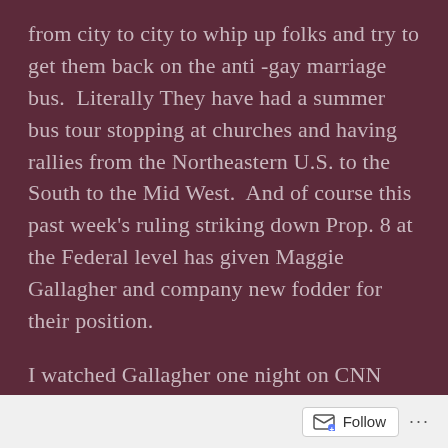from city to city to whip up folks and try to get them back on the anti -gay marriage bus.  Literally They have had a summer bus tour stopping at churches and having rallies from the Northeastern U.S. to the South to the Mid West.  And of course this past week's ruling striking down Prop. 8 at the Federal level has given Maggie Gallagher and company new fodder for their position.
I watched Gallagher one night on CNN opposite the wonderful and brilliant Evan Wolfson who has been one of the chief legal strategists for marriage equality
Follow ···